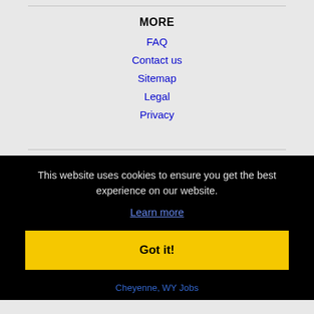MORE
FAQ
Contact us
Sitemap
Legal
Privacy
This website uses cookies to ensure you get the best experience on our website.
Learn more
Got it!
Cheyenne, WY Jobs